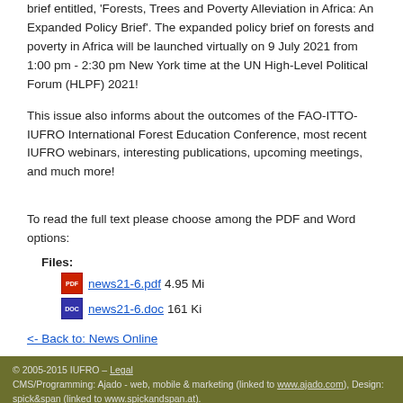brief entitled, 'Forests, Trees and Poverty Alleviation in Africa: An Expanded Policy Brief'. The expanded policy brief on forests and poverty in Africa will be launched virtually on 9 July 2021 from 1:00 pm - 2:30 pm New York time at the UN High-Level Political Forum (HLPF) 2021!
This issue also informs about the outcomes of the FAO-ITTO-IUFRO International Forest Education Conference, most recent IUFRO webinars, interesting publications, upcoming meetings, and much more!
To read the full text please choose among the PDF and Word options:
Files:
news21-6.pdf 4.95 Mi
news21-6.doc 161 Ki
<- Back to: News Online
© 2005-2015 IUFRO – Legal
CMS/Programming: Ajado - web, mobile & marketing (linked to www.ajado.com), Design: spick&span (linked to www.spickandspan.at).
[Figure (infographic): Social media icons row: email, RSS, WordPress, YouTube, Twitter, Facebook on olive/tan background]